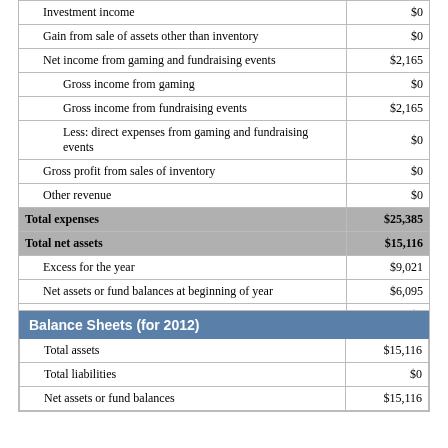| Description | Amount |
| --- | --- |
| Investment income | $0 |
| Gain from sale of assets other than inventory | $0 |
| Net income from gaming and fundraising events | $2,165 |
| Gross income from gaming | $0 |
| Gross income from fundraising events | $2,165 |
| Less: direct expenses from gaming and fundraising events | $0 |
| Gross profit from sales of inventory | $0 |
| Other revenue | $0 |
| Total expenses | $25,385 |
| Total net assets | $15,116 |
| Excess for the year | $9,021 |
| Net assets or fund balances at beginning of year | $6,095 |
| Other changes in net assets or fund balances | $0 |
Balance Sheets (for 2012)
| Description | Amount |
| --- | --- |
| Total assets | $15,116 |
| Total liabilities | $0 |
| Net assets or fund balances | $15,116 |